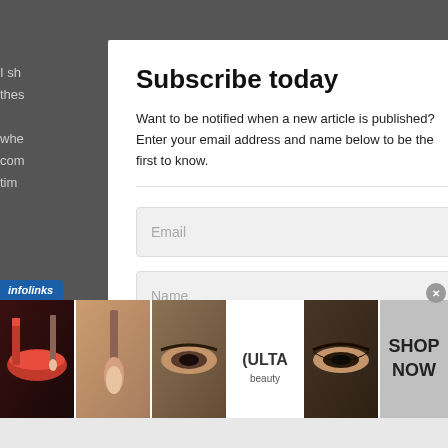I sh... with the... whe... and co... tim...
Subscribe today
Want to be notified when a new article is published? Enter your email address and name below to be the first to know.
Email
Name
Let ... and wha... you dea... ect it? A...
[Figure (screenshot): Infolinks advertisement banner showing makeup/beauty images including lips with lipstick, makeup brush, eye makeup, ULTA Beauty logo, and eye makeup on dark background, with SHOP NOW call to action on grey background.]